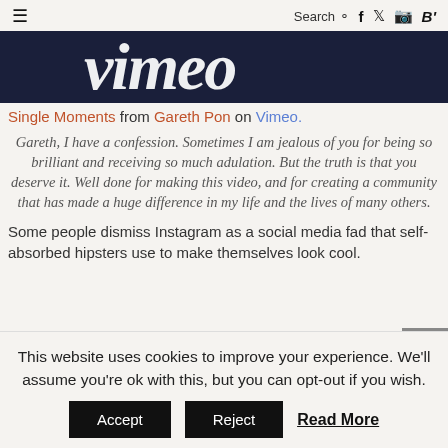≡  Search 🔍  f  𝕏  📷  B'
[Figure (logo): Vimeo logo in white italic text on dark navy background]
Single Moments from Gareth Pon on Vimeo.
Gareth, I have a confession. Sometimes I am jealous of you for being so brilliant and receiving so much adulation. But the truth is that you deserve it. Well done for making this video, and for creating a community that has made a huge difference in my life and the lives of many others.
Some people dismiss Instagram as a social media fad that self-absorbed hipsters use to make themselves look cool.
This website uses cookies to improve your experience. We'll assume you're ok with this, but you can opt-out if you wish.